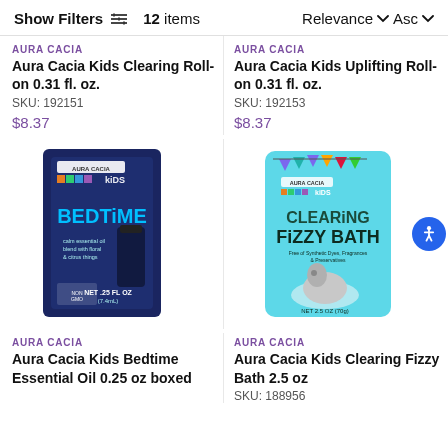Show Filters  12 items  Relevance Asc
AURA CACIA
Aura Cacia Kids Clearing Roll-on 0.31 fl. oz.
SKU: 192151
$8.37
AURA CACIA
Aura Cacia Kids Uplifting Roll-on 0.31 fl. oz.
SKU: 192153
$8.37
[Figure (photo): Aura Cacia Kids Bedtime essential oil product box, dark blue packaging with BEDTIME text]
[Figure (photo): Aura Cacia Kids Clearing Fizzy Bath packet, teal/turquoise packaging with elephant illustration]
AURA CACIA
Aura Cacia Kids Bedtime Essential Oil 0.25 oz boxed
AURA CACIA
Aura Cacia Kids Clearing Fizzy Bath 2.5 oz
SKU: 188956